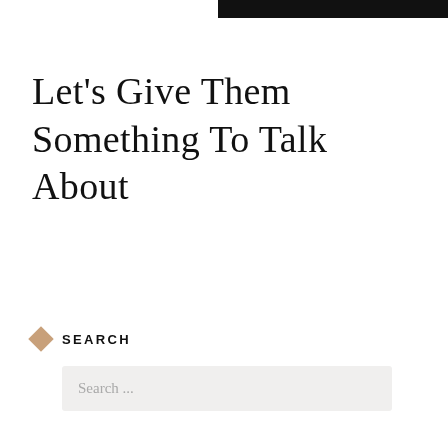Let's Give Them Something To Talk About
SEARCH
Search ...